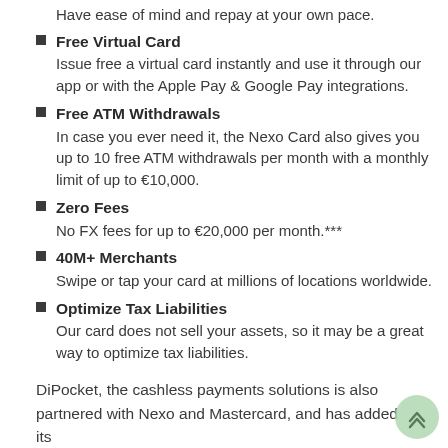Have ease of mind and repay at your own pace.
Free Virtual Card
Issue free a virtual card instantly and use it through our app or with the Apple Pay & Google Pay integrations.
Free ATM Withdrawals
In case you ever need it, the Nexo Card also gives you up to 10 free ATM withdrawals per month with a monthly limit of up to €10,000.
Zero Fees
No FX fees for up to €20,000 per month.***
40M+ Merchants
Swipe or tap your card at millions of locations worldwide.
Optimize Tax Liabilities
Our card does not sell your assets, so it may be a great way to optimize tax liabilities.
DiPocket, the cashless payments solutions is also partnered with Nexo and Mastercard, and has added its